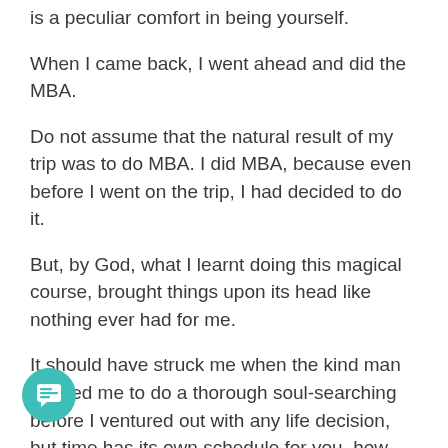is a peculiar comfort in being yourself.
When I came back, I went ahead and did the MBA.
Do not assume that the natural result of my trip was to do MBA. I did MBA, because even before I went on the trip, I had decided to do it.
But, by God, what I learnt doing this magical course, brought things upon its head like nothing ever had for me.
It should have struck me when the kind man warned me to do a thorough soul-searching before I ventured out with any life decision, but time has its own schedule for you, how much ever you may try to program it. The course turned me inside out, almost physically and mentally. And I was for what I was here; nothing more, nothing less.
Lest I miss the point, this is not a post